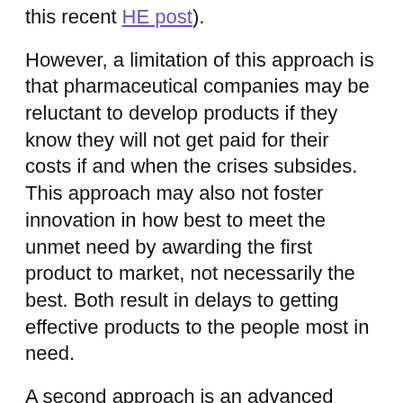this recent HE post).
However, a limitation of this approach is that pharmaceutical companies may be reluctant to develop products if they know they will not get paid for their costs if and when the crises subsides.  This approach may also not foster innovation in how best to meet the unmet need by awarding the first product to market, not necessarily the best.  Both result in delays to getting effective products to the people most in need.
A second approach is an advanced market commitment. Under an advance market commitment, the US government and other payers commit to a minimum price to be paid per person up to a certain number of individuals immunized or treated. The price would be set to cover at a minimum the product's development and manufacturing costs. For additional purchases, the price would eventually drop to close to their